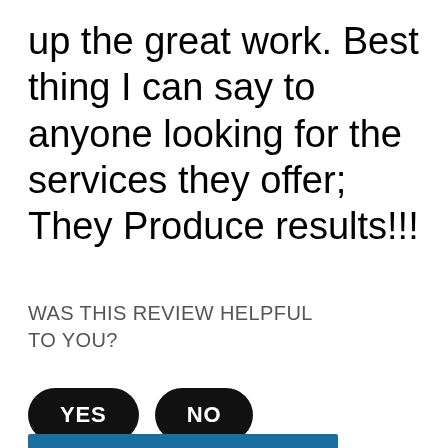up the great work. Best thing I can say to anyone looking for the services they offer; They Produce results!!!
WAS THIS REVIEW HELPFUL TO YOU?
YES
NO